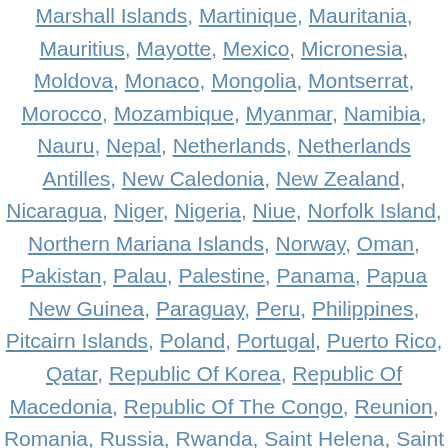Marshall Islands, Martinique, Mauritania, Mauritius, Mayotte, Mexico, Micronesia, Moldova, Monaco, Mongolia, Montserrat, Morocco, Mozambique, Myanmar, Namibia, Nauru, Nepal, Netherlands, Netherlands Antilles, New Caledonia, New Zealand, Nicaragua, Niger, Nigeria, Niue, Norfolk Island, Northern Mariana Islands, Norway, Oman, Pakistan, Palau, Palestine, Panama, Papua New Guinea, Paraguay, Peru, Philippines, Pitcairn Islands, Poland, Portugal, Puerto Rico, Qatar, Republic Of Korea, Republic Of Macedonia, Republic Of The Congo, Reunion, Romania, Russia, Rwanda, Saint Helena, Saint Kitts And Nevis, Saint Lucia, Saint Pierre And